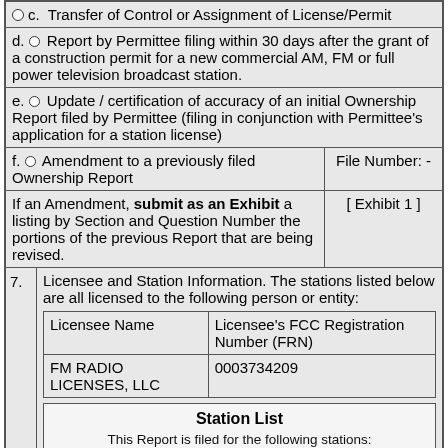| c. ○ Transfer of Control or Assignment of License/Permit |
| d. ○ Report by Permittee filing within 30 days after the grant of a construction permit for a new commercial AM, FM or full power television broadcast station. |
| e. ○ Update / certification of accuracy of an initial Ownership Report filed by Permittee (filing in conjunction with Permittee's application for a station license) |
| f. ○ Amendment to a previously filed Ownership Report | File Number: - |
| If an Amendment, submit as an Exhibit a listing by Section and Question Number the portions of the previous Report that are being revised. | [ Exhibit 1 ] |
| Licensee Name | Licensee's FCC Registration Number (FRN) |
| --- | --- |
| FM RADIO LICENSES, LLC | 0003734209 |
7. Licensee and Station Information. The stations listed below are all licensed to the following person or entity:
Station List
This Report is filed for the following stations: